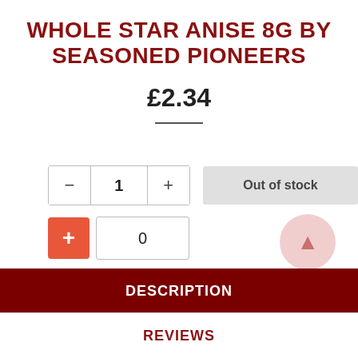WHOLE STAR ANISE 8G BY SEASONED PIONEERS
£2.34
Out of stock
DESCRIPTION
REVIEWS